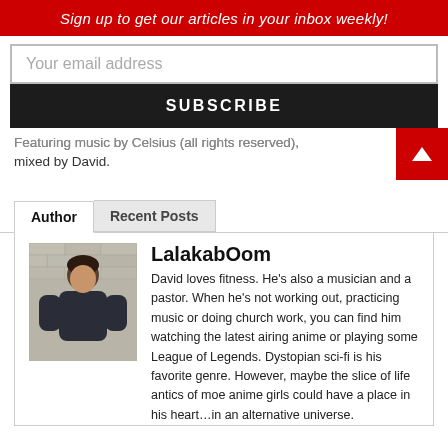Sign up to get our articles in your inbox weekly!
Your email address
SUBSCRIBE
Featuring music by Celsius (all rights reserved), mixed by David.
Author | Recent Posts
LalakabOom
[Figure (photo): Author photo: a man in a dark polo shirt standing in front of a brick wall]
David loves fitness. He's also a musician and a pastor. When he's not working out, practicing music or doing church work, you can find him watching the latest airing anime or playing some League of Legends. Dystopian sci-fi is his favorite genre. However, maybe the slice of life antics of moe anime girls could have a place in his heart…in an alternative universe.